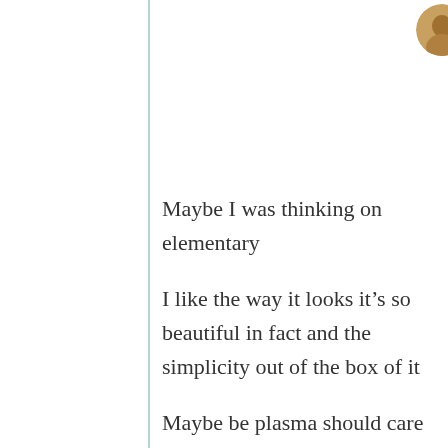[Figure (photo): Small circular avatar photo of a person, positioned at top center-right]
September 30, 2018
at 8:23 am
Maybe I was thinking on elementary
I like the way it looks it’s so beautiful in fact and the simplicity out of the box of it
Maybe be plasma should care more about the default themes and out of the box experience
I talk here about my feeling iam not technically experinced